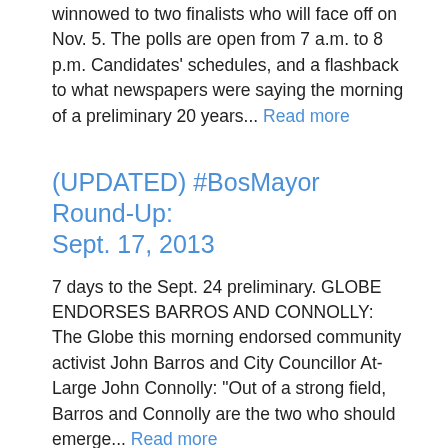winnowed to two finalists who will face off on Nov. 5. The polls are open from 7 a.m. to 8 p.m. Candidates' schedules, and a flashback to what newspapers were saying the morning of a preliminary 20 years... Read more
(UPDATED) #BosMayor Round-Up: Sept. 17, 2013
7 days to the Sept. 24 preliminary. GLOBE ENDORSES BARROS AND CONNOLLY: The Globe this morning endorsed community activist John Barros and City Councillor At-Large John Connolly: "Out of a strong field, Barros and Connolly are the two who should emerge... Read more
State House News Q&A: Mayoral candidates on medical marijuana